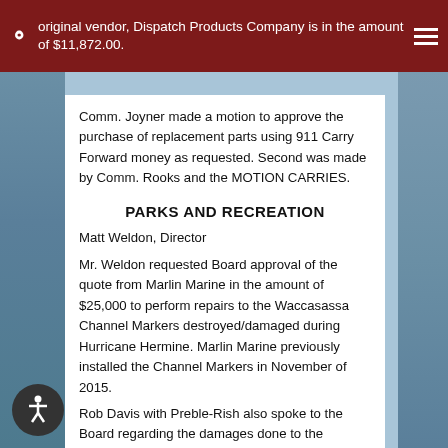original vendor, Dispatch Products Company is in the amount of $11,872.00.
Comm. Joyner made a motion to approve the purchase of replacement parts using 911 Carry Forward money as requested. Second was made by Comm. Rooks and the MOTION CARRIES.
PARKS AND RECREATION
Matt Weldon, Director
Mr. Weldon requested Board approval of the quote from Marlin Marine in the amount of $25,000 to perform repairs to the Waccasassa Channel Markers destroyed/damaged during Hurricane Hermine. Marlin Marine previously installed the Channel Markers in November of 2015.
Rob Davis with Preble-Rish also spoke to the Board regarding the damages done to the